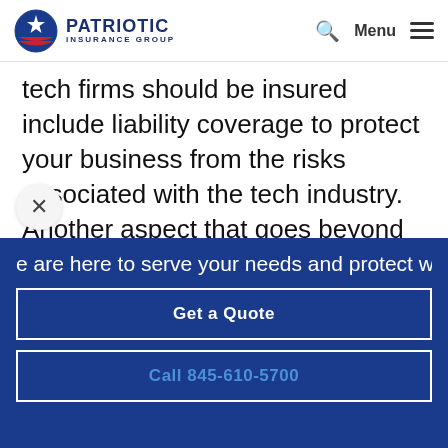PATRIOTIC INSURANCE GROUP
tech firms should be insured include liability coverage to protect your business from the risks associated with the tech industry. Another aspect that goes beyond the tech world involves electrical equipment being stored on-site. For these tech firms, specifically
e are here to serve your needs and protect wha
Get a Quote
Call 845-610-5700